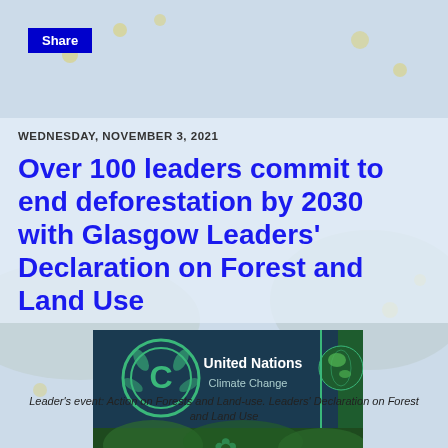Share
WEDNESDAY, NOVEMBER 3, 2021
Over 100 leaders commit to end deforestation by 2030 with Glasgow Leaders' Declaration on Forest and Land Use
[Figure (photo): Panel discussion at COP26 with United Nations Climate Change backdrop and green forest imagery. Five panelists seated on stage.]
Leader's event: Action on Forests and Land-use. Leaders' Declaration on Forest and Land Use